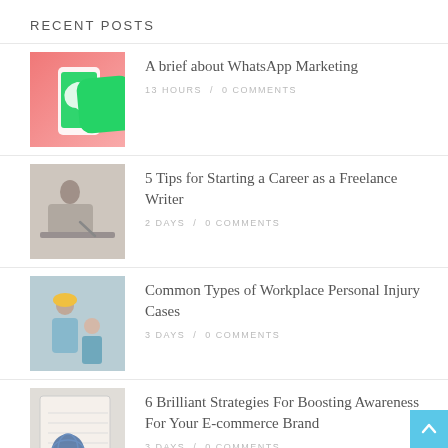RECENT POSTS
A brief about WhatsApp Marketing
13 HOURS / 0 COMMENTS
5 Tips for Starting a Career as a Freelance Writer
2 DAYS / 0 COMMENTS
Common Types of Workplace Personal Injury Cases
3 DAYS / 0 COMMENTS
6 Brilliant Strategies For Boosting Awareness For Your E-commerce Brand
3 DAYS / 0 COMMENTS